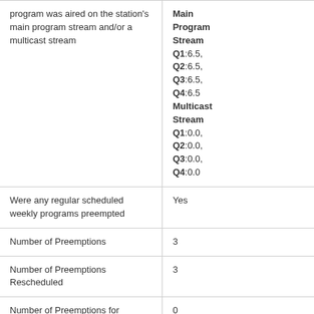| Question | Answer |
| --- | --- |
| State the number of hours the program was aired on the station's main program stream and/or a multicast stream | Main Program Stream Q1:6.5, Q2:6.5, Q3:6.5, Q4:6.5 Multicast Stream Q1:0.0, Q2:0.0, Q3:0.0, Q4:0.0 |
| Were any regular scheduled weekly programs preempted | Yes |
| Number of Preemptions | 3 |
| Number of Preemptions Rescheduled | 3 |
| Number of Preemptions for Breaking News or Non- | 0 |